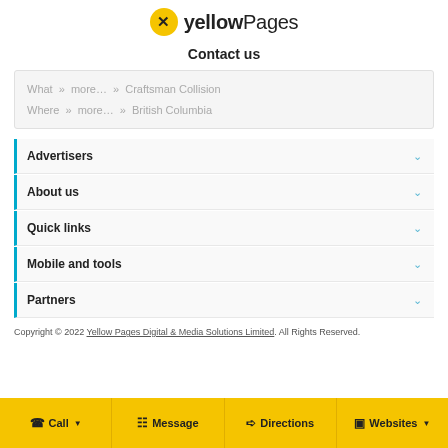[Figure (logo): Yellow Pages logo with yellow circle containing X and bold 'yellow' followed by 'Pages' text]
Contact us
What » more… » Craftsman Collision
Where » more… » British Columbia
Advertisers
About us
Quick links
Mobile and tools
Partners
Copyright © 2022 Yellow Pages Digital & Media Solutions Limited. All Rights Reserved.
Call | Message | Directions | Websites